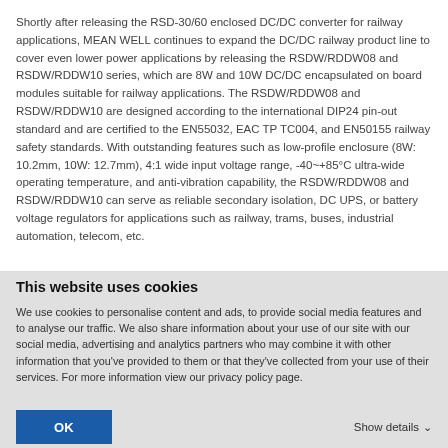Shortly after releasing the RSD-30/60 enclosed DC/DC converter for railway applications, MEAN WELL continues to expand the DC/DC railway product line to cover even lower power applications by releasing the RSDW/RDDW08 and RSDW/RDDW10 series, which are 8W and 10W DC/DC encapsulated on board modules suitable for railway applications. The RSDW/RDDW08 and RSDW/RDDW10 are designed according to the international DIP24 pin-out standard and are certified to the EN55032, EAC TP TC004, and EN50155 railway safety standards. With outstanding features such as low-profile enclosure (8W: 10.2mm, 10W: 12.7mm), 4:1 wide input voltage range, -40~+85°C ultra-wide operating temperature, and anti-vibration capability, the RSDW/RDDW08 and RSDW/RDDW10 can serve as reliable secondary isolation, DC UPS, or battery voltage regulators for applications such as railway, trams, buses, industrial automation, telecom, etc.
This website uses cookies
We use cookies to personalise content and ads, to provide social media features and to analyse our traffic. We also share information about your use of our site with our social media, advertising and analytics partners who may combine it with other information that you've provided to them or that they've collected from your use of their services. For more information view our privacy policy page.